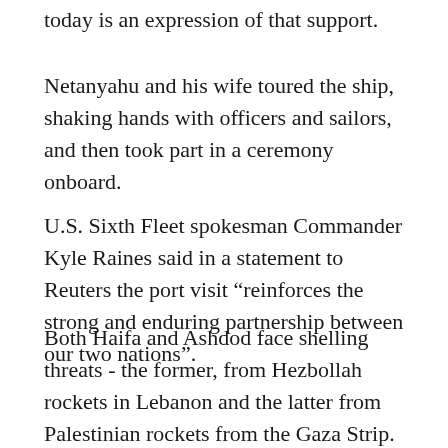today is an expression of that support.
Netanyahu and his wife toured the ship, shaking hands with officers and sailors, and then took part in a ceremony onboard.
U.S. Sixth Fleet spokesman Commander Kyle Raines said in a statement to Reuters the port visit “reinforces the strong and enduring partnership between our two nations”.
Both Haifa and Ashdod face shelling threats - the former, from Hezbollah rockets in Lebanon and the latter from Palestinian rockets from the Gaza Strip.